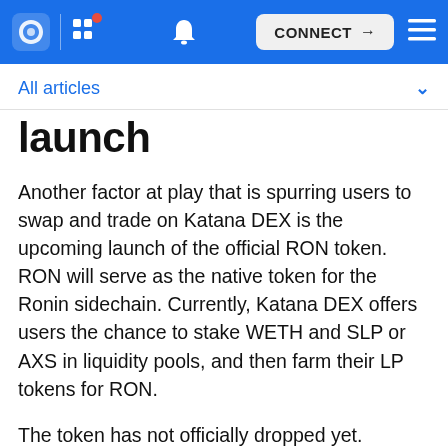CONNECT
All articles
launch
Another factor at play that is spurring users to swap and trade on Katana DEX is the upcoming launch of the official RON token. RON will serve as the native token for the Ronin sidechain. Currently, Katana DEX offers users the chance to stake WETH and SLP or AXS in liquidity pools, and then farm their LP tokens for RON.
The token has not officially dropped yet. However, this is a great opportunity for players to stack RON coins in advance. Once the RON governance and